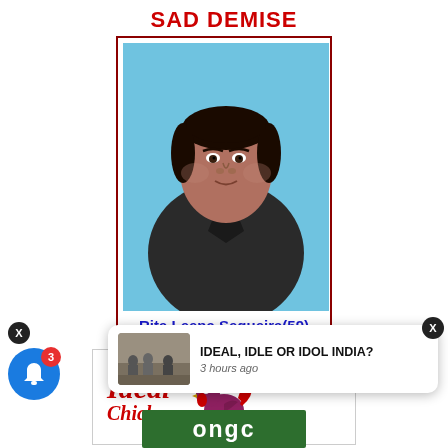SAD DEMISE
[Figure (photo): Obituary card with portrait photo of Rita Leena Sequeira (59) against blue background, wearing dark shirt, with dark red border]
Rita Leena Sequeira(59)
[Figure (logo): Ideal Chicken advertisement logo with red text 'Ideal' in italic, a magenta/purple rooster graphic, and registered trademark symbol]
[Figure (screenshot): Notification popup: thumbnail image of people in a room, title text 'IDEAL, IDLE OR IDOL INDIA?', timestamp '3 hours ago']
[Figure (logo): ONGC green banner logo at bottom center]
IDEAL, IDLE OR IDOL INDIA?
3 hours ago